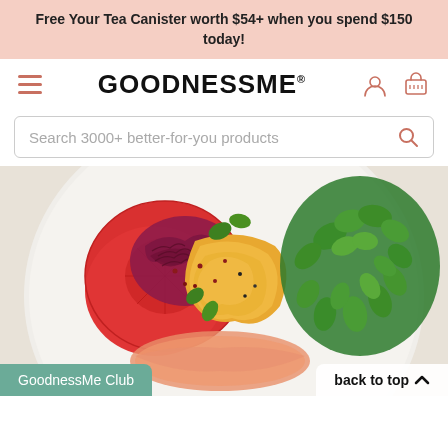Free Your Tea Canister worth $54+ when you spend $150 today!
[Figure (logo): GoodnessMe logo with hamburger menu, user icon, and basket icon navigation bar]
Search 3000+ better-for-you products
[Figure (photo): Overhead shot of a healthy breakfast bowl with scrambled eggs, tomato slices, red sauerkraut, fresh green herbs/watercress, and salmon on a white speckled plate]
GoodnessMe Club
back to top